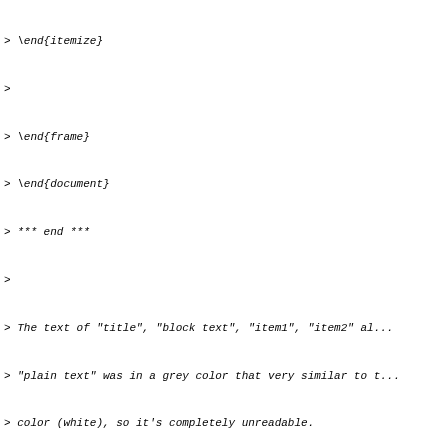> \end{itemize}
>
> \end{frame}
> \end{document}
> *** end ***
>
> The text of "title", "block text", "item1", "item2" al...
> "plain text" was in a grey color that very similar to t...
> color (white), so it's completely unreadable.
>
> I've tried to replace the texmf-dist/tex/latex/beamer d...
> the one from texlive 2005 and this problem remains, so...
> something wrong elsewhere in texlive 2007
>
> if you compile this document with texlive 2005, the co...
> text" should be black, and that's readable
> --
> regards,
> fishy
>
Previous message: [tex-live] bug of beamer in texlive 2007?
Next message: [tex-live] basic help
Messages sorted by: [ date ] [ thread ] [ subject ] [ author ]
More information about the tex-live mailing list